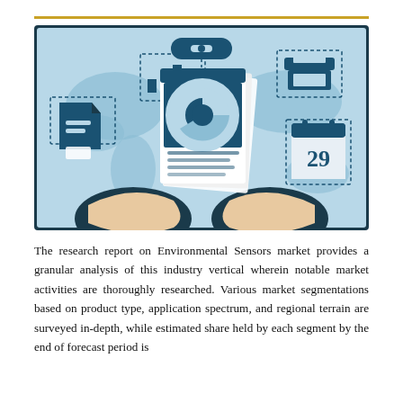[Figure (illustration): A business/market research illustration showing hands holding a report with a pie chart on the cover, surrounded by icons of a bar chart, a document, a printer, a calendar showing '29', on a world map background. The image has a blue color scheme with dark teal icons on a light blue world map background, framed with a dark border.]
The research report on Environmental Sensors market provides a granular analysis of this industry vertical wherein notable market activities are thoroughly researched. Various market segmentations based on product type, application spectrum, and regional terrain are surveyed in-depth, while estimated share held by each segment by the end of forecast period is